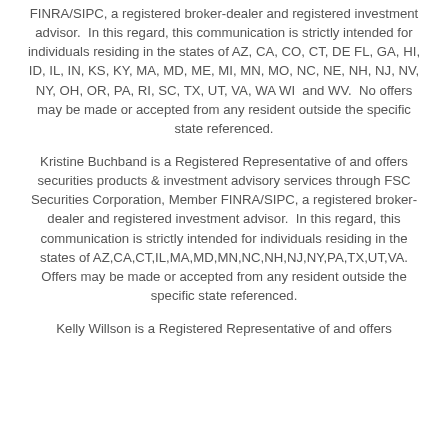FINRA/SIPC, a registered broker-dealer and registered investment advisor.  In this regard, this communication is strictly intended for individuals residing in the states of AZ, CA, CO, CT, DE FL, GA, HI, ID, IL, IN, KS, KY, MA, MD, ME, MI, MN, MO, NC, NE, NH, NJ, NV, NY, OH, OR, PA, RI, SC, TX, UT, VA, WA WI  and WV.  No offers may be made or accepted from any resident outside the specific state referenced.
Kristine Buchband is a Registered Representative of and offers securities products & investment advisory services through FSC Securities Corporation, Member FINRA/SIPC, a registered broker-dealer and registered investment advisor.  In this regard, this communication is strictly intended for individuals residing in the states of AZ,CA,CT,IL,MA,MD,MN,NC,NH,NJ,NY,PA,TX,UT,VA.  Offers may be made or accepted from any resident outside the specific state referenced.
Kelly Willson is a Registered Representative of and offers